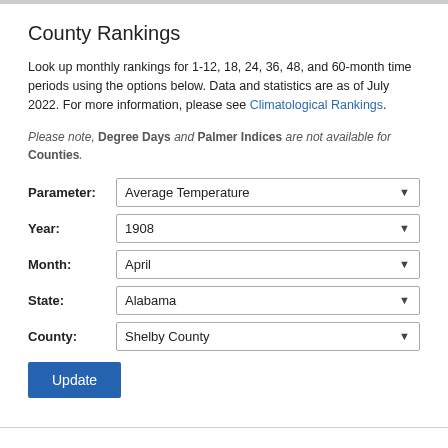County Rankings
Look up monthly rankings for 1-12, 18, 24, 36, 48, and 60-month time periods using the options below. Data and statistics are as of July 2022. For more information, please see Climatological Rankings.
Please note, Degree Days and Palmer Indices are not available for Counties.
Parameter: Average Temperature
Year: 1908
Month: April
State: Alabama
County: Shelby County
Update